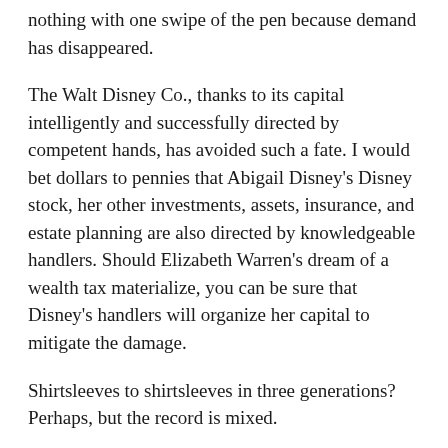nothing with one swipe of the pen because demand has disappeared.
The Walt Disney Co., thanks to its capital intelligently and successfully directed by competent hands, has avoided such a fate. I would bet dollars to pennies that Abigail Disney's Disney stock, her other investments, assets, insurance, and estate planning are also directed by knowledgeable handlers. Should Elizabeth Warren's dream of a wealth tax materialize, you can be sure that Disney's handlers will organize her capital to mitigate the damage.
Shirtsleeves to shirtsleeves in three generations? Perhaps, but the record is mixed.
Some studies show that wealth entropy within three generations is real. One, in particular, claims that 90% of the third generation are back to shirtsleeves. Other studies refute the shirtsleeves-to-shirtsleeves axiom. Wealth can pass through multiple generations before it dissipates. No one is